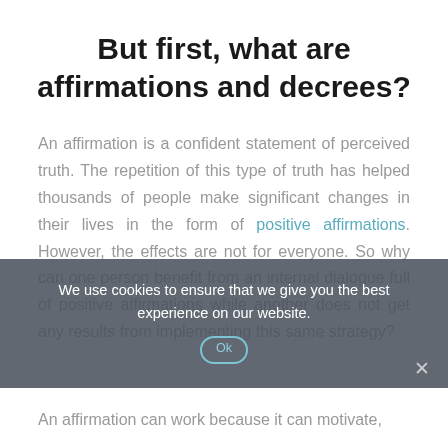But first, what are affirmations and decrees?
An affirmation is a confident statement of perceived truth. The repetition of this type of truth has helped thousands of people make significant changes in their lives in the form of positive affirmations. However, the effects are not for everyone. So why can one person benefit from an internal dialogue full of positive affirmations while another does not get any results from implementing this same strategy?
We use cookies to ensure that we give you the best experience on our website.
An affirmation can work because it can motivate,